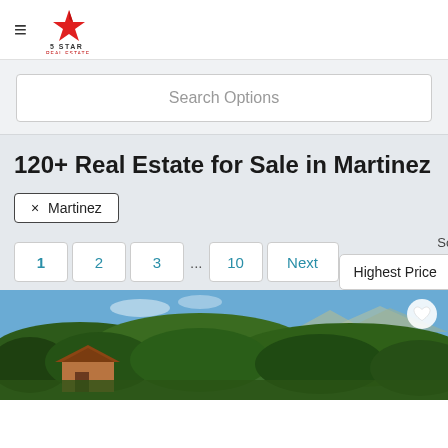5 Star Real Estate — navigation header with hamburger menu and logo
Search Options
120+ Real Estate for Sale in Martinez
× Martinez
1  2  3  ...  10  Next
Sort By: Highest Price
[Figure (photo): Aerial landscape photo of a house nestled among dense green trees with hills and blue sky in the background, Martinez California real estate listing]